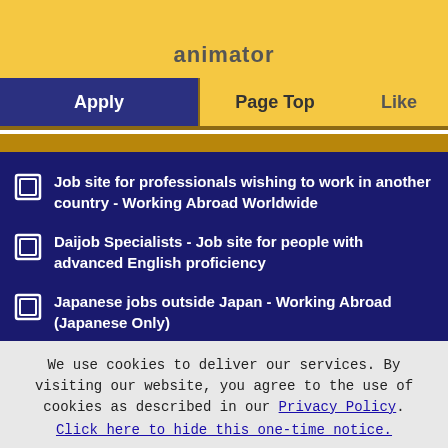animator
Apply | Page Top | Like
Job site for professionals wishing to work in another country - Working Abroad Worldwide
Daijob Specialists - Job site for people with advanced English proficiency
Japanese jobs outside Japan - Working Abroad (Japanese Only)
Information Site for HR Managers - HR Club
[Figure (logo): Protecting your PRIVACY badge with circular arrow logo]
We use cookies to deliver our services. By visiting our website, you agree to the use of cookies as described in our Privacy Policy. Click here to hide this one-time notice.